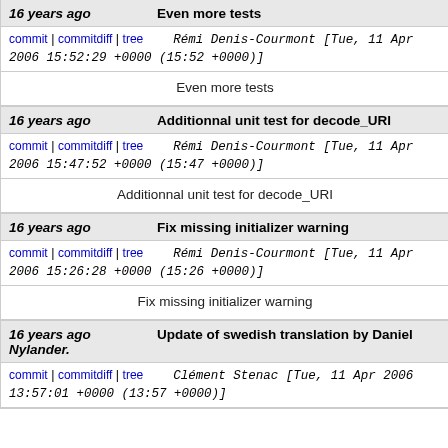16 years ago | Even more tests
commit | commitdiff | tree   Rémi Denis-Courmont [Tue, 11 Apr 2006 15:52:29 +0000 (15:52 +0000)]
Even more tests
16 years ago | Additionnal unit test for decode_URI
commit | commitdiff | tree   Rémi Denis-Courmont [Tue, 11 Apr 2006 15:47:52 +0000 (15:47 +0000)]
Additionnal unit test for decode_URI
16 years ago | Fix missing initializer warning
commit | commitdiff | tree   Rémi Denis-Courmont [Tue, 11 Apr 2006 15:26:28 +0000 (15:26 +0000)]
Fix missing initializer warning
16 years ago | Update of swedish translation by Daniel Nylander.
commit | commitdiff | tree   Clément Stenac [Tue, 11 Apr 2006 13:57:01 +0000 (13:57 +0000)]